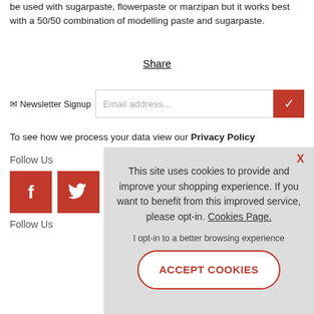be used with sugarpaste, flowerpaste or marzipan but it works best with a 50/50 combination of modelling paste and sugarpaste.
Share
✉ Newsletter Signup  Email address...
To see how we process your data view our Privacy Policy
Follow Us
[Figure (screenshot): Facebook and Twitter social media icons in red squares]
Follow Us
[Figure (screenshot): Cookie consent popup: 'This site uses cookies to provide and improve your shopping experience. If you want to benefit from this improved service, please opt-in. Cookies Page. I opt-in to a better browsing experience. ACCEPT COOKIES']